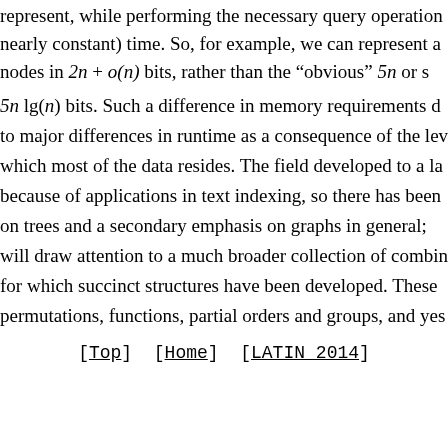represent, while performing the necessary query operation nearly constant) time. So, for example, we can represent a nodes in 2n + o(n) bits, rather than the "obvious" 5n or s 5n lg(n) bits. Such a difference in memory requirements d to major differences in runtime as a consequence of the lev which most of the data resides. The field developed to a la because of applications in text indexing, so there has been on trees and a secondary emphasis on graphs in general; will draw attention to a much broader collection of combina for which succinct structures have been developed. These permutations, functions, partial orders and groups, and yes
[Top]  [Home]  [LATIN 2014]